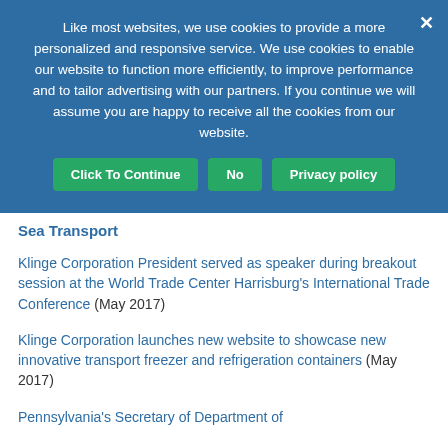Like most websites, we use cookies to provide a more personalized and responsive service. We use cookies to enable our website to function more efficiently, to improve performance and to tailor advertising with our partners. If you continue we will assume you are happy to receive all the cookies from our website.
Click To Continue
No
Privacy policy
Sea Transport
Klinge Corporation President served as speaker during breakout session at the World Trade Center Harrisburg's International Trade Conference (May 2017)
Klinge Corporation launches new website to showcase new innovative transport freezer and refrigeration containers (May 2017)
Pennsylvania's Secretary of Department of